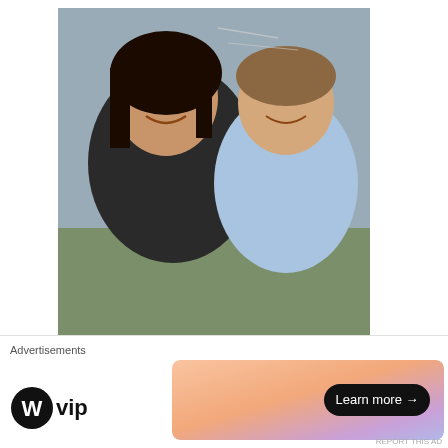[Figure (photo): A woman with dark hair and a man in a light blue shirt smiling together outdoors, windy conditions visible.]
What Bridge?
    Fog and
    hurricane
    force wind
    greeted us
Case in point, when my friend Brainard (the Pie
Advertisements
[Figure (logo): WordPress VIP logo with circle W icon and 'vip' text]
[Figure (screenshot): Advertisement banner with gradient background (orange to purple) and a 'Learn more →' button]